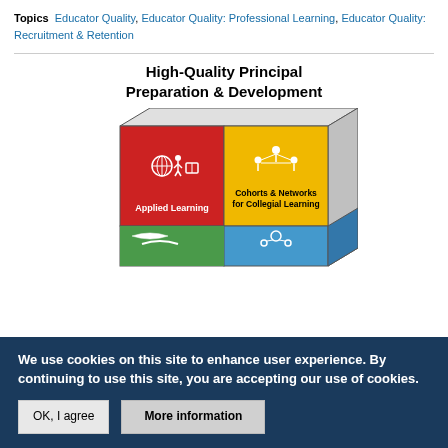Topics  Educator Quality, Educator Quality: Professional Learning, Educator Quality: Recruitment & Retention
[Figure (infographic): High-Quality Principal Preparation & Development infographic showing a cube divided into four colored quadrants: red (Applied Learning), yellow (Cohorts & Networks for Collegial Learning), green (bottom-left, partially visible), blue (bottom-right, partially visible). Each quadrant has a white icon.]
We use cookies on this site to enhance user experience. By continuing to use this site, you are accepting our use of cookies.
OK, I agree
More information